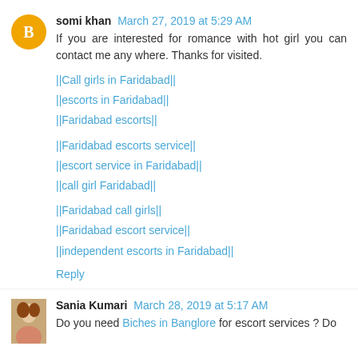somi khan March 27, 2019 at 5:29 AM
If you are interested for romance with hot girl you can contact me any where. Thanks for visited.
||Call girls in Faridabad||
||escorts in Faridabad||
||Faridabad escorts||
||Faridabad escorts service||
||escort service in Faridabad||
||call girl Faridabad||
||Faridabad call girls||
||Faridabad escort service||
||independent escorts in Faridabad||
Reply
Sania Kumari March 28, 2019 at 5:17 AM
Do you need Biches in Banglore for escort services ? Do